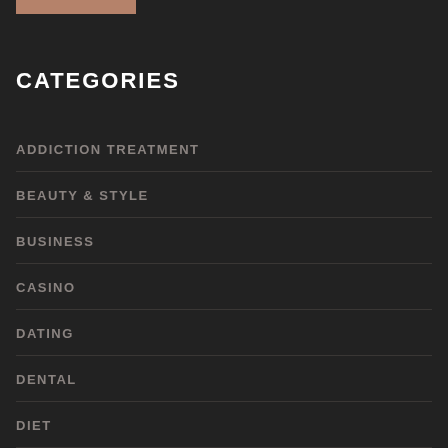CATEGORIES
ADDICTION TREATMENT
BEAUTY & STYLE
BUSINESS
CASINO
DATING
DENTAL
DIET